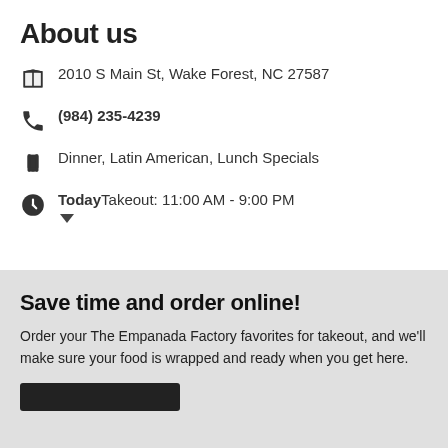About us
2010 S Main St, Wake Forest, NC 27587
(984) 235-4239
Dinner, Latin American, Lunch Specials
Today Takeout: 11:00 AM - 9:00 PM
Save time and order online!
Order your The Empanada Factory favorites for takeout, and we'll make sure your food is wrapped and ready when you get here.